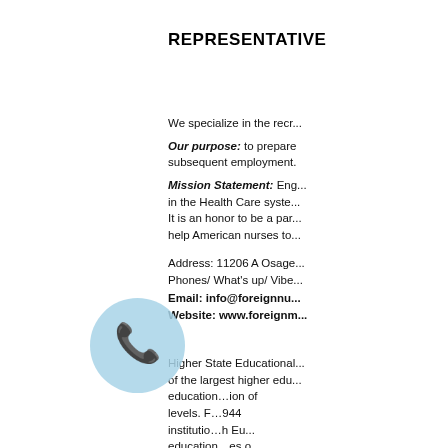REPRESENTATIVE
We specialize in the recr... Our purpose: to prepare subsequent employment. Mission Statement: Eng... in the Health Care syste... It is an honor to be a par... help American nurses to...
Address: 11206 A Osage... Phones/ What's up/ Vibe... Email: info@foreignnu... Website: www.foreignm...
Higher State Educational... of the largest higher edu... education...ion of levels. F...944 institutio...h Eu... education...es o... which it is subordinated. Education and Science c...
[Figure (illustration): Light blue circle with a telephone/phone handset icon in dark color, overlaid on the lower-left area of the text content]